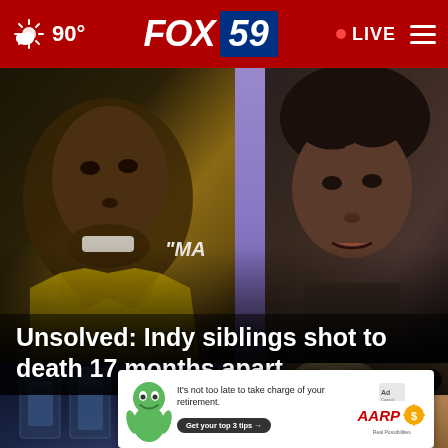90° FOX 59 • LIVE
[Figure (photo): Hero image showing two people side by side: a young man on the left wearing a yellow jersey, and a young woman on the right with dark hair and bangs, with a purple divider between them. Overlay text 'MA' visible on jersey.]
Unsolved: Indy siblings shot to death 17 months apart
[Figure (photo): Thumbnail image on left showing a dark blue scene with display cases or shelving]
[Figure (photo): Thumbnail image on right showing a person with light/blonde hair, with an X close button overlay]
[Figure (other): AARP advertisement banner: green mascot character, text 'It\'s not too late to take charge of your retirement. Get your top 3 tips →', Ad Council logo, AARP logo, sun/coin icon. Real Possibilities tagline.]